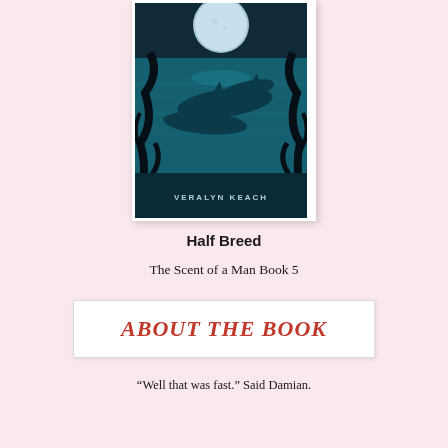[Figure (illustration): Book cover of 'Half Breed' by Veralyn Keach. Dark teal ocean scene with a large pale moon at top, dolphins or sharks swimming in the middle, dark silhouetted plant forms on left and right edges, and author name 'VERALYN KEACH' at the bottom center.]
Half Breed
The Scent of a Man Book 5
ABOUT THE BOOK
“Well that was fast.” Said Damian.